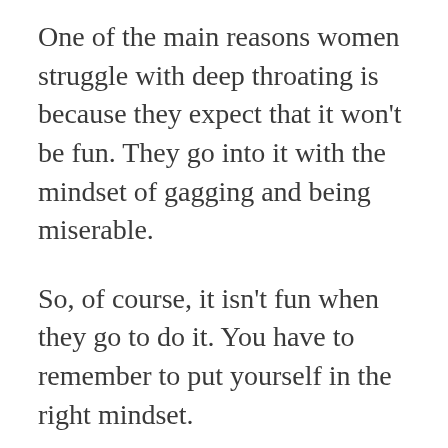One of the main reasons women struggle with deep throating is because they expect that it won't be fun. They go into it with the mindset of gagging and being miserable.
So, of course, it isn't fun when they go to do it. You have to remember to put yourself in the right mindset.
You have to remember that it will be fun. The more you dread it, the tenser you'll be. That means your